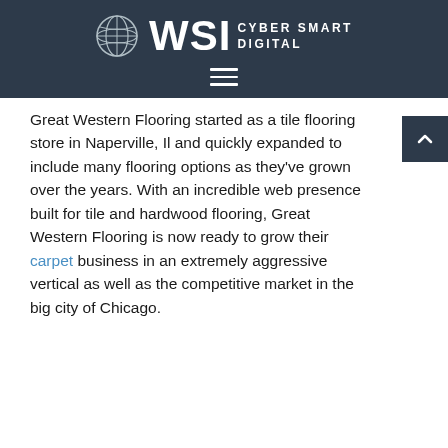WSI CYBER SMART DIGITAL
Great Western Flooring started as a tile flooring store in Naperville, Il and quickly expanded to include many flooring options as they've grown over the years. With an incredible web presence built for tile and hardwood flooring, Great Western Flooring is now ready to grow their carpet business in an extremely aggressive vertical as well as the competitive market in the big city of Chicago.